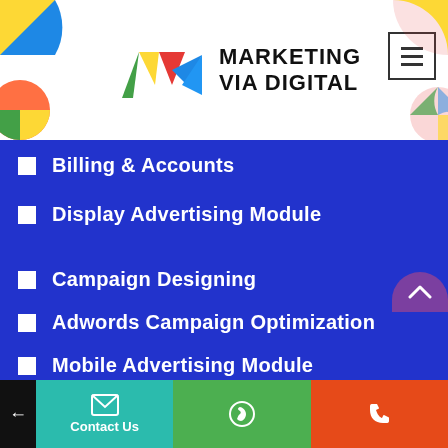[Figure (logo): Marketing Via Digital logo with colorful geometric shapes and text]
Billing & Accounts
Display Advertising Module
Campaign Designing
Adwords Campaign Optimization
Mobile Advertising Module
Re-Targeting Module
Keyword Planning for Paid Marketing
On page Optimization for Paid Marketing
Contact Us